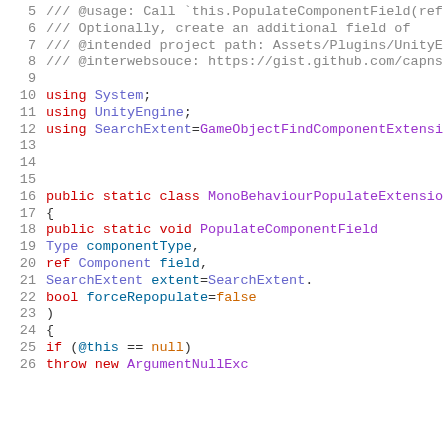[Figure (screenshot): Code editor screenshot showing C# source code lines 5-26, with syntax highlighting. Comments in gray, keywords in red, types/identifiers in blue/purple.]